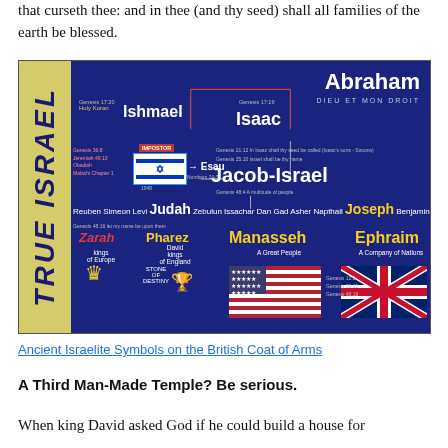that curseth thee: and in thee (and thy seed) shall all families of the earth be blessed.
[Figure (infographic): TRUE ISRAEL genealogical chart showing lineage from Abraham through Isaac, Jacob-Israel, the twelve tribes including Judah and Joseph, down to Zarah (kings of Europe), Pharez (David kings of England, Stone of Destiny), Manasseh (A Great People, USA flag), and Ephraim (A Company of Nations, UK flag). Ishmael and Esau shown as separate branches. Biblical references throughout.]
Ancient Israelite Symbols on the British Coat of Arms
A Third Man-Made Temple? Be serious.
When king David asked God if he could build a house for